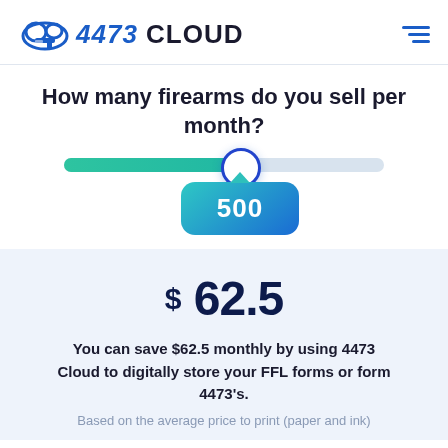4473 CLOUD
How many firearms do you sell per month?
[Figure (infographic): A horizontal slider control showing a value of 500, with a teal/green filled portion on the left and grey on the right, a blue circle thumb, and a teal tooltip bubble below showing '500'.]
$62.5
You can save $62.5 monthly by using 4473 Cloud to digitally store your FFL forms or form 4473's.
Based on the average price to print (paper and ink)